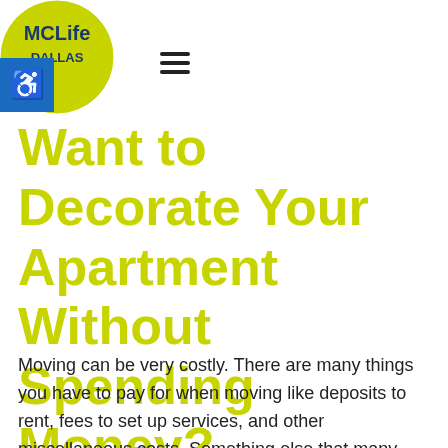[Figure (logo): MCLife Dallas circular logo with yellow-green background and blue accessibility icon box in lower left corner, and hamburger menu icon to the right]
Want to Decorate Your Apartment Without Spending Money?
Moving can be very costly. There are many things you have to pay for when moving like deposits to rent, fees to set up services, and other miscellaneous costs. Something else that many people like to do when they move is go out and purchase new things